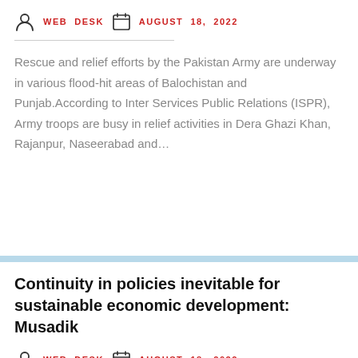WEB DESK   AUGUST 18, 2022
Rescue and relief efforts by the Pakistan Army are underway in various flood-hit areas of Balochistan and Punjab.According to Inter Services Public Relations (ISPR), Army troops are busy in relief activities in Dera Ghazi Khan, Rajanpur, Naseerabad and…
Continuity in policies inevitable for sustainable economic development: Musadik
WEB DESK   AUGUST 18, 2022
Minister of State for Petroleum Musadik Malik says continuity in policies is inevitable